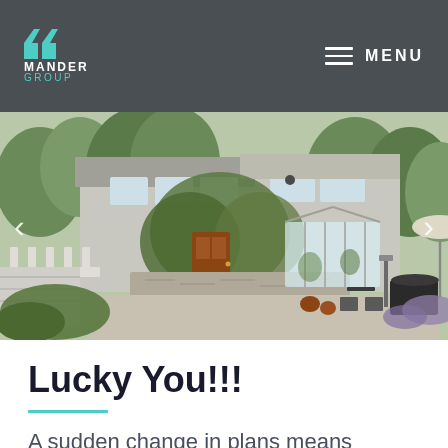MANDER GROUP — MENU
[Figure (photo): Exterior photo of a house with ivy-covered walls, stone facade, wooden front door, greenhouse/conservatory extension, patio with chairs and potted plants, BBQ grill covered with tarp, and lush green garden with lavender plants and large trees surrounding the property.]
Lucky You!!!
A sudden change in plans means another chance at this lovely home!